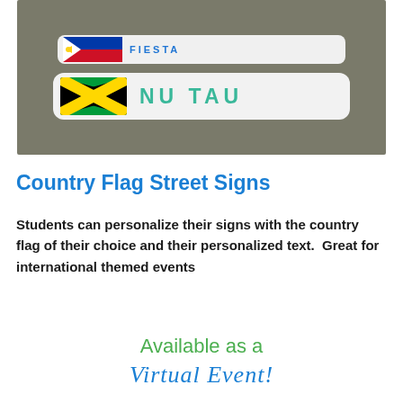[Figure (photo): Photo of two street sign badges on a concrete surface. Top badge is white/light with a Philippine flag and text (partially visible). Bottom badge is white with a Jamaica flag (black, gold, green) and text 'NU TAU' in teal/green letters.]
Country Flag Street Signs
Students can personalize their signs with the country flag of their choice and their personalized text.  Great for international themed events
Available as a
Virtual Event!